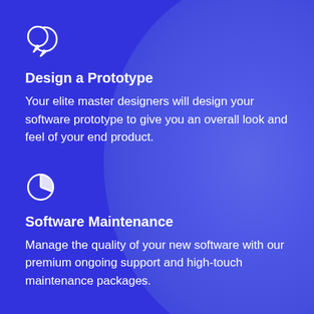[Figure (illustration): White chat/speech bubbles icon (two overlapping circles with speech bubble tails)]
Design a Prototype
Your elite master designers will design your software prototype to give you an overall look and feel of your end product.
[Figure (illustration): White pie chart icon with one slice highlighted]
Software Maintenance
Manage the quality of your new software with our premium ongoing support and high-touch maintenance packages.